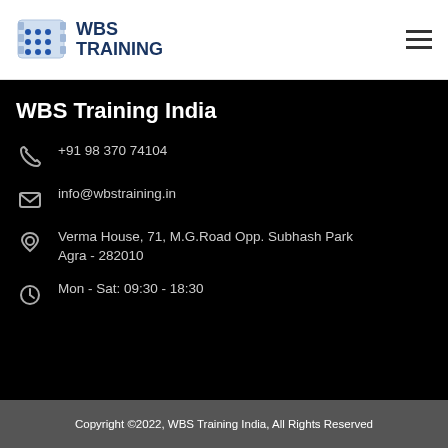[Figure (logo): WBS Training logo with blue film/grid icon and bold blue WBS TRAINING text]
WBS Training India
+91 98 370 74104
info@wbstraining.in
Verma House, 71, M.G.Road Opp. Subhash Park Agra - 282010
Mon - Sat: 09:30 - 18:30
Copyright ©2022, WBS Training India, All Rights Reserved